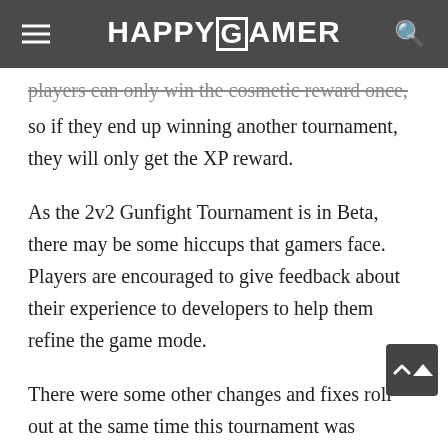HAPPYGAMER
players can only win the cosmetic reward once, so if they end up winning another tournament, they will only get the XP reward.
As the 2v2 Gunfight Tournament is in Beta, there may be some hiccups that gamers face. Players are encouraged to give feedback about their experience to developers to help them refine the game mode.
There were some other changes and fixes rolled out at the same time this tournament was